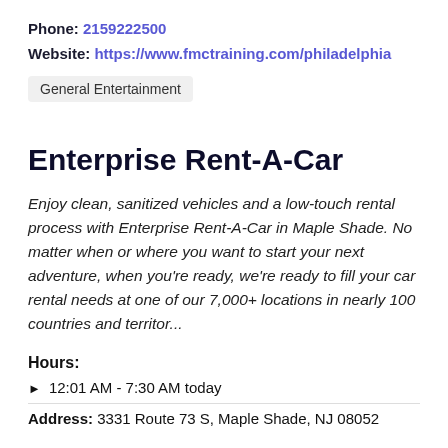Phone: 2159222500
Website: https://www.fmctraining.com/philadelphia
General Entertainment
Enterprise Rent-A-Car
Enjoy clean, sanitized vehicles and a low-touch rental process with Enterprise Rent-A-Car in Maple Shade. No matter when or where you want to start your next adventure, when you're ready, we're ready to fill your car rental needs at one of our 7,000+ locations in nearly 100 countries and territor...
Hours:
▶ 12:01 AM - 7:30 AM today
Address: 3331 Route 73 S, Maple Shade, NJ 08052